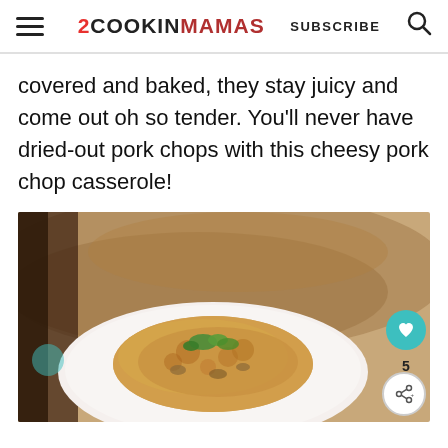2 COOKIN MAMAS — SUBSCRIBE
covered and baked, they stay juicy and come out oh so tender. You'll never have dried-out pork chops with this cheesy pork chop casserole!
[Figure (photo): A cheesy pork chop casserole served on a white plate, garnished with fresh herbs, placed on a wooden board background. A teal heart-shaped like button with count 5 and a share button are overlaid on the image.]